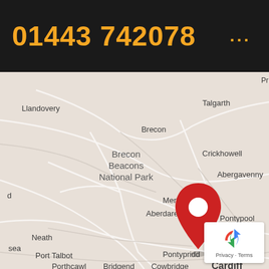01443 742078
[Figure (map): Google Maps showing South Wales area with a red location pin near Aberdare/Merthyr Tydfil. Map labels visible: Llandovery, Talgarth, Brecon, Brecon Beacons National Park, Crickhowell, Abergavenny, Merthyr Tydfil, Aberdare, Pontypool, Cwmbran, Neath, Port Talbot, sea, Pontypridd, Newport, Bridgend, Porthcawl, Cowbridge, Cardiff, Penarth]